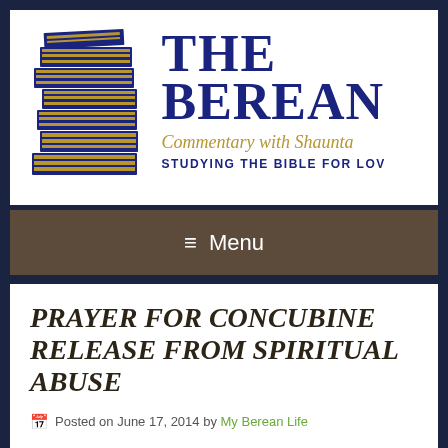[Figure (logo): The Berean Commentary with Shaunta — logo with stack of books and text 'STUDYING THE BIBLE FOR LOV']
≡  Menu
PRAYER FOR CONCUBINE RELEASE FROM SPIRITUAL ABUSE
Posted on June 17, 2014 by My Berean Life